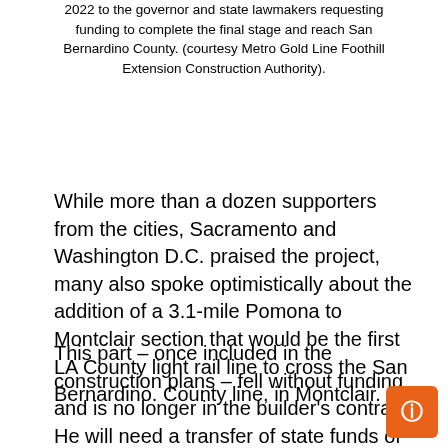2022 to the governor and state lawmakers requesting funding to complete the final stage and reach San Bernardino County. (courtesy Metro Gold Line Foothill Extension Construction Authority).
While more than a dozen supporters from the cities, Sacramento and Washington D.C. praised the project, many also spoke optimistically about the addition of a 3.1-mile Pomona to Montclair section that would be the first LA County light rail line to cross the San Bernardino. County line, in Montclair.
This part – once included in the construction plans – fell without funding and is no longer in the builder's contract. He will need a transfer of state funds of about $748 million to resuscitate him, plus either a new contract or an extension